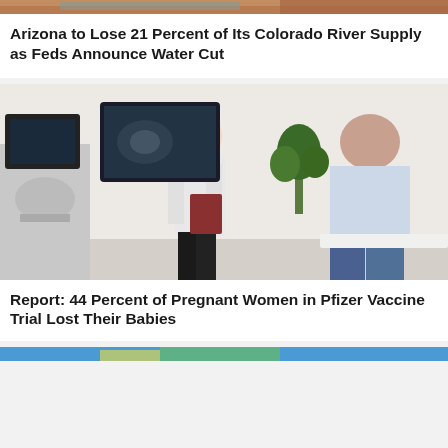[Figure (photo): Partial image at the top, appears to show a reddish rocky landscape (Colorado River area), cropped at top of page]
Arizona to Lose 21 Percent of Its Colorado River Supply as Feds Announce Water Cut
[Figure (photo): A doctor in a white coat sitting on a stool holding a clipboard speaking with a pregnant woman seated on an examination table, with ultrasound equipment visible in the background and a plant]
Report: 44 Percent of Pregnant Women in Pfizer Vaccine Trial Lost Their Babies
[Figure (photo): Partial image at the bottom of the page, cropped, appears to show a child or person in colorful clothing on a blue background]